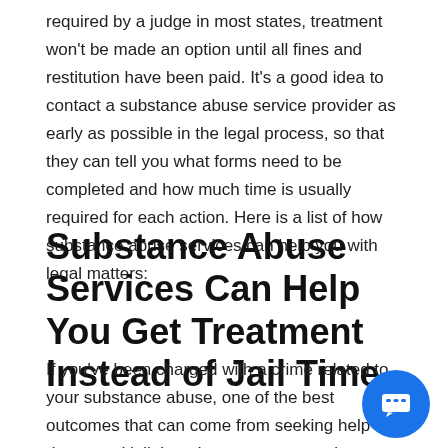required by a judge in most states, treatment won't be made an option until all fines and restitution have been paid. It's a good idea to contact a substance abuse service provider as early as possible in the legal process, so that they can tell you what forms need to be completed and how much time is usually required for each action. Here is a list of how substance abuse services can help you with legal matters:
Substance Abuse Services Can Help You Get Treatment Instead of Jail Time
If you've been charged with a crime related to your substance abuse, one of the best outcomes that can come from seeking help is decreased jail time. In many cases, substance abuse service providers can work with the court system to get you into drug and alcohol treatment instead of jail time. The main issue is often